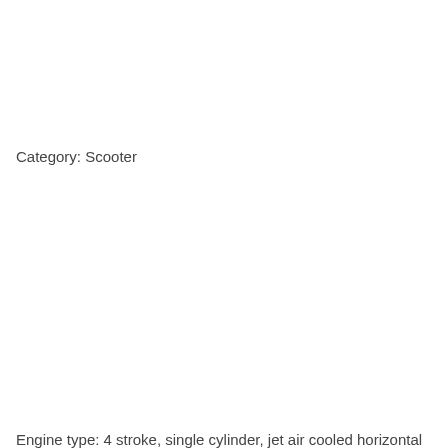Category: Scooter
Engine type: 4 stroke, single cylinder, jet air cooled horizontal